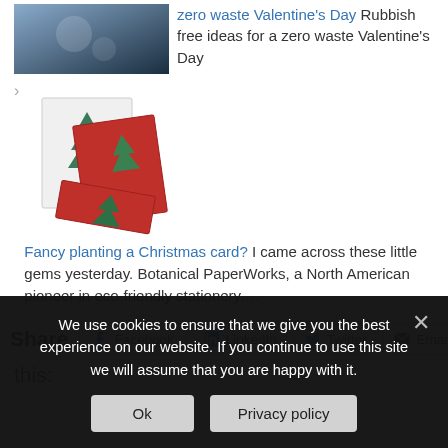[Figure (photo): Thumbnail image for zero waste Valentine's Day article]
zero waste Valentine's Day Rubbish free ideas for a zero waste Valentine's Day
[Figure (photo): Photo of Christmas cards with tree cutouts - plantable cards from Botanical PaperWorks]
Fancy planting a Christmas card? I came across these little gems yesterday. Botanical PaperWorks, a North American pioneer in eco-friendly stationery,...
Share
Facebook
LinkedIn
Twitter
Email
this:
We use cookies to ensure that we give you the best experience on our website. If you continue to use this site we will assume that you are happy with it.
Ok
Privacy policy